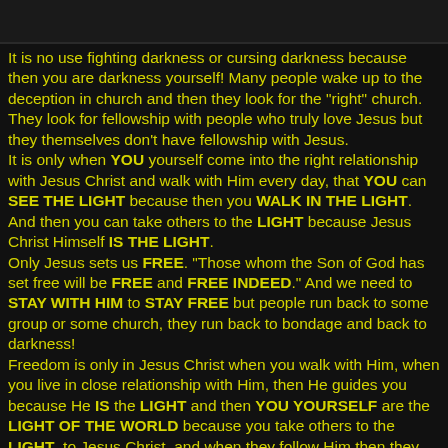[Figure (photo): Dark image at the top of the page]
It is no use fighting darkness or cursing darkness because then you are darkness yourself! Many people wake up to the deception in church and then they look for the "right" church. They look for fellowship with people who truly love Jesus but they themselves don't have fellowship with Jesus.
It is only when YOU yourself come into the right relationship with Jesus Christ and walk with Him every day, that YOU can SEE THE LIGHT because then you WALK IN THE LIGHT. And then you can take others to the LIGHT because Jesus Christ Himself IS THE LIGHT.
Only Jesus sets us FREE. “Those whom the Son of God has set free will be FREE and FREE INDEED.” And we need to STAY WITH HIM to STAY FREE but people run back to some group or some church, they run back to bondage and back to darkness!
Freedom is only in Jesus Christ when you walk with Him, when you live in close relationship with Him, then He guides you because He IS the LIGHT and then YOU YOURSELF are the LIGHT OF THE WORLD because you take others to the LIGHT, to Jesus Christ, and when they follow Him then they WALK IN THE LIGHT and then they are free!